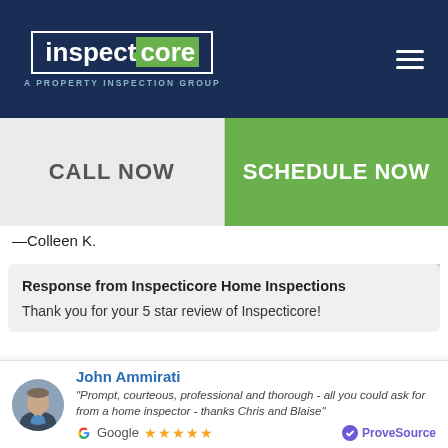inspecticore A PROPERTY INSPECTION GROUP
CALL NOW | SCHEDULE NOW
—Colleen K.
Response from Inspecticore Home Inspections
Thank you for your 5 star review of Inspecticore!
John Ammirati
"Prompt, courteous, professional and thorough - all you could ask for from a home inspector - thanks Chris and Blaise"
Google ★★★★★  ProveSource